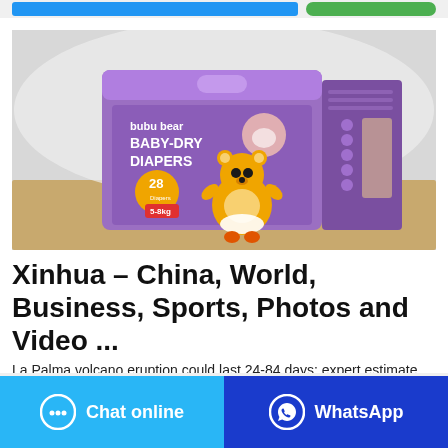[Figure (photo): Product photo of bubu bear Baby-Dry Diapers in purple packaging, 28 count, size 5-8kg, with a cartoon bear mascot]
Xinhua – China, World, Business, Sports, Photos and Video ...
La Palma volcano eruption could last 24-84 days: expert estimate. The eruption of the Cumbre Vieja volcano on the
[Figure (other): Chat online button (light blue) and WhatsApp button (dark blue) at bottom of page]